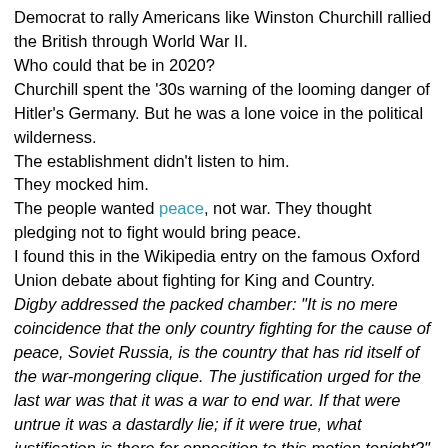Democrat to rally Americans like Winston Churchill rallied the British through World War II.
Who could that be in 2020?
Churchill spent the '30s warning of the looming danger of Hitler's Germany. But he was a lone voice in the political wilderness.
The establishment didn't listen to him.
They mocked him.
The people wanted peace, not war. They thought pledging not to fight would bring peace.
I found this in the Wikipedia entry on the famous Oxford Union debate about fighting for King and Country.
Digby addressed the packed chamber: "It is no mere coincidence that the only country fighting for the cause of peace, Soviet Russia, is the country that has rid itself of the war-mongering clique. The justification urged for the last war was that it was a war to end war. If that were untrue it was a dastardly lie; if it were true, what justification is there for opposition to this motion tonight?"
They thought Soviet Russia was doing things the right way.
I guess Bernie would be his best Churchill.
Everyone else in the Democratic field appears to have the